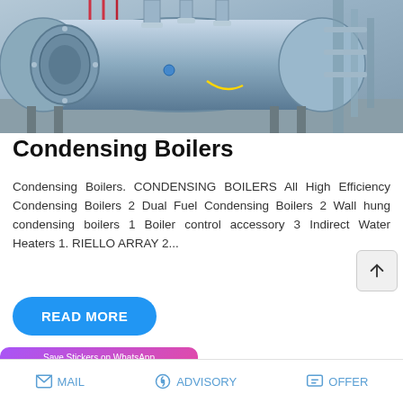[Figure (photo): Industrial condensing boiler in a factory/plant setting. Large horizontal cylindrical boiler with blue-grey metalwork, pipes, and industrial equipment visible. The unit appears to be a commercial-grade condensing boiler system.]
Condensing Boilers
Condensing Boilers. CONDENSING BOILERS All High Efficiency Condensing Boilers 2 Dual Fuel Condensing Boilers 2 Wall hung condensing boilers 1 Boiler control accessory 3 Indirect Water Heaters 1. RIELLO ARRAY 2...
[Figure (screenshot): READ MORE button - blue rounded rectangle button with white bold text]
[Figure (screenshot): Save Stickers on WhatsApp banner - purple to pink gradient with WhatsApp and emoji icons]
MAIL   ADVISORY   OFFER